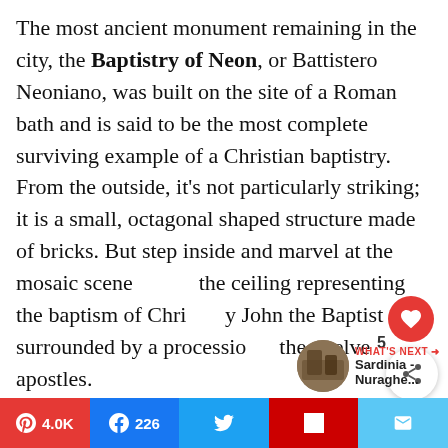The most ancient monument remaining in the city, the Baptistry of Neon, or Battistero Neoniano, was built on the site of a Roman bath and is said to be the most complete surviving example of a Christian baptistry. From the outside, it's not particularly striking; it is a small, octagonal shaped structure made of bricks. But step inside and marvel at the mosaic scene [on] the ceiling representing the baptism of Christ by John the Baptist surrounded by a procession of the twelve apostles.